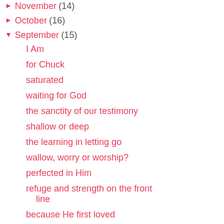► November (14)
► October (16)
▼ September (15)
I Am
for Chuck
saturated
waiting for God
the sanctity of our testimony
shallow or deep
the learning in letting go
wallow, worry or worship?
perfected in Him
refuge and strength on the front line
because He first loved
today
joyous vision
[Figure (photo): Dark brown book cover with white typewriter-font text reading 'His Mak (Vi' — partially cropped]
But seek ye fi unto you. (Ma
No co
Post a